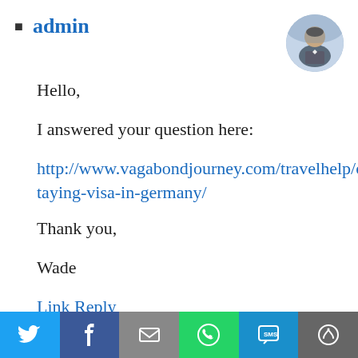admin
Hello,
I answered your question here:
http://www.vagabondjourney.com/travelhelp/overstaying-visa-in-germany/
Thank you,
Wade
Link Reply
[Figure (infographic): Social share bar with Twitter, Facebook, Email, WhatsApp, SMS, and More buttons]